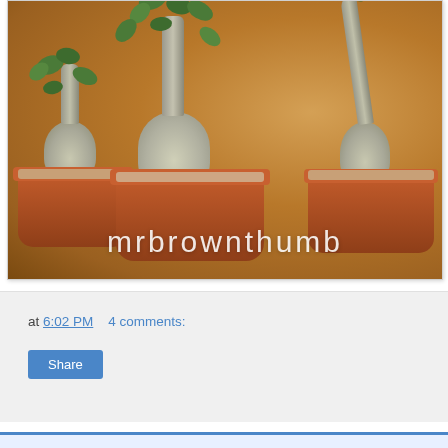[Figure (photo): Three desert rose (Adenium) bonsai plants in terracotta pots against a brown textured background. Plants have swollen caudex bases and green leaves on thin branching stems. White watermark text 'mrbrownthumb' overlaid at bottom of image.]
at 6:02 PM    4 comments:
Share